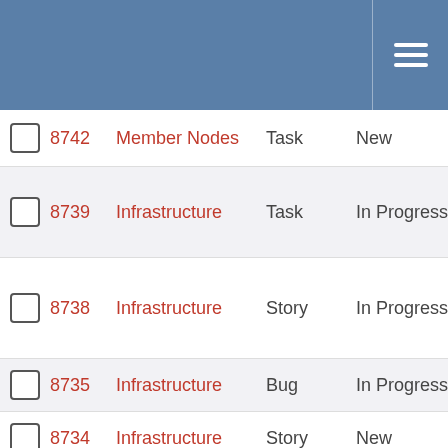Header bar with hamburger menu
8742 Member Nodes Task New N…
8739 Infrastructure Task In Progress N…
8738 Infrastructure Story In Progress N…
8735 Infrastructure Bug In Progress N…
8734 Infrastructure Story New N…
8733 CN REST Bug New N…
8729 Member Nodes Task New N…